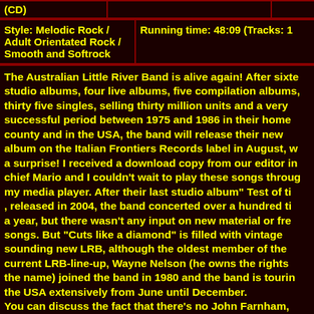| (CD) |  |  |
| Style: Melodic Rock / Adult Orientated Rock / Smooth and Softrock | Running time: 48:09 (Tracks: 1... |
The Australian Little River Band is alive again! After sixteen studio albums, four live albums, five compilation albums, thirty five singles, selling thirty million units and a very successful period between 1975 and 1986 in their home county and in the USA, the band will release their new album on the Italian Frontiers Records label in August, w a surprise! I received a download copy from our editor in chief Mario and I couldn't wait to play these songs throug my media player. After their last studio album" Test of tim , released in 2004, the band concerted over a hundred tim a year, but there wasn't any input on new material or fres songs. But "Cuts like a diamond" is filled with vintage sounding new LRB, although the oldest member of the current LRB-line-up, Wayne Nelson (he owns the rights o the name) joined the band in 1980 and the band is tourin the USA extensively from June until December.
You can discuss the fact that there's no John Farnham, Graham Goble, Glenn Shorrock, Stephen Housden( playi only additional guitars next to guitarist / vocalist Greg Hi and Beeb Birtles ( well-known and some original membe...